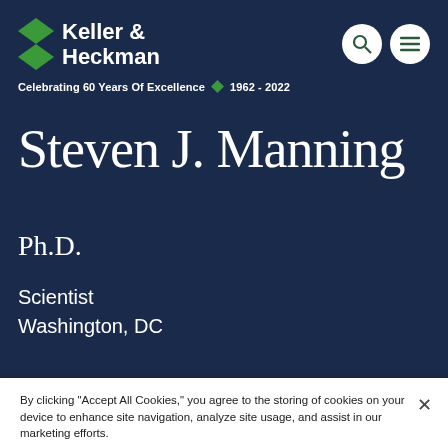[Figure (logo): Keller & Heckman law firm logo with green diamond shapes and white text on dark navy background]
Celebrating 60 Years Of Excellence ◆ 1962 - 2022
Steven J. Manning
Ph.D.
Scientist
Washington, DC
By clicking "Accept All Cookies," you agree to the storing of cookies on your device to enhance site navigation, analyze site usage, and assist in our marketing efforts.